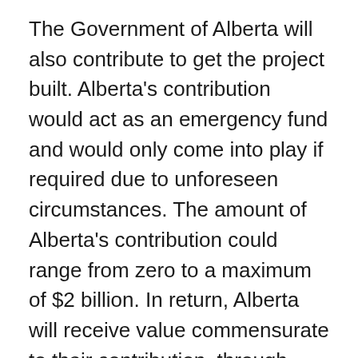The Government of Alberta will also contribute to get the project built. Alberta's contribution would act as an emergency fund and would only come into play if required due to unforeseen circumstances. The amount of Alberta's contribution could range from zero to a maximum of $2 billion. In return, Alberta will receive value commensurate to their contribution, through equity or profit sharing.
Existing profit sharing or other agreements established between Kinder Morgan and Indigenous groups would be maintained under the transaction.